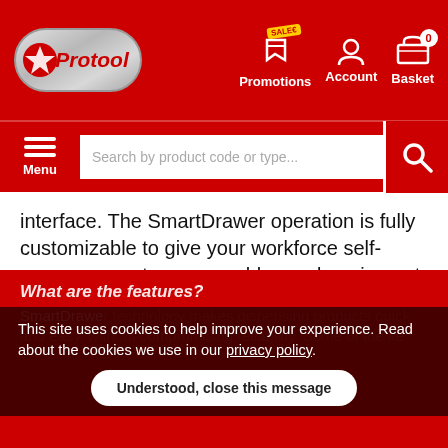[Figure (screenshot): Protool website header with logo, Promotions, Account, and Basket (0) navigation icons on red background]
[Figure (screenshot): Red navigation bar with hamburger Menu button, search input field, and red search button]
interface. The SmartDrawer operation is fully customizable to give your workforce self-serve access to consumables and equipment, on demand.
With a high storage capacity and a small footprint, SmartDrawer makes the most of limited space.
What are the features?
SmartDrawer technology makes dispensing products quick and easy, without compromising reliability. Some of the ke
This site uses cookies to help improve your experience. Read about the cookies we use in our privacy policy.
Understood, close this message